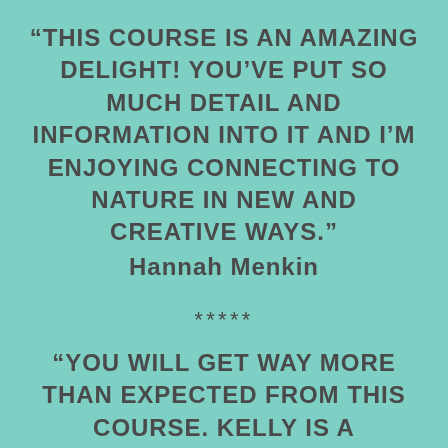“This course is an amazing delight! You’ve put so much detail and information into it and I’m enjoying connecting to nature in new and creative ways.”
Hannah Menkin
*****
“You will get way more than expected from this course. Kelly is a wonderful and inspiring teacher who will teach you how to